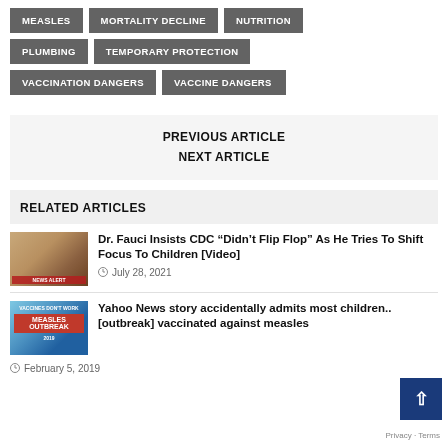MEASLES
MORTALITY DECLINE
NUTRITION
PLUMBING
TEMPORARY PROTECTION
VACCINATION DANGERS
VACCINE DANGERS
PREVIOUS ARTICLE
NEXT ARTICLE
RELATED ARTICLES
Dr. Fauci Insists CDC “Didn’t Flip Flop” As He Tries To Shift Focus To Children [Video]
July 28, 2021
Yahoo News story accidentally admits most children..[outbreak] vaccinated against measles
February 5, 2019